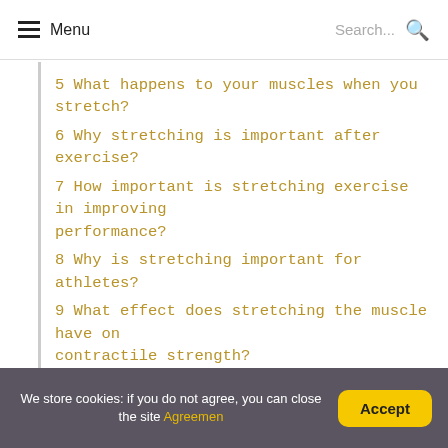Menu  Search...
5 What happens to your muscles when you stretch?
6 Why stretching is important after exercise?
7 How important is stretching exercise in improving performance?
8 Why is stretching important for athletes?
9 What effect does stretching the muscle have on contractile strength?
10 Does stretching change your body?
11 Does stretching decrease performance?
12 When is stretching most effective?
13 What happens to your body when you stretch in the morning?
We store cookies: if you do not agree, you can close the site Agreement  Accept